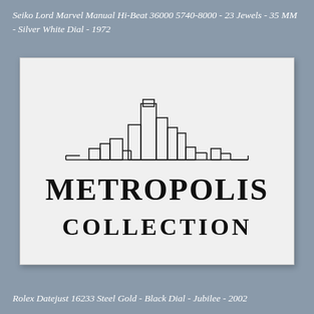Seiko Lord Marvel Manual Hi-Beat 36000 5740-8000 - 23 Jewels - 35 MM - Silver White Dial - 1972
[Figure (logo): Metropolis Collection logo: abstract cityscape skyline line drawing above the words METROPOLIS COLLECTION in large serif text, on a light gray/white background]
Rolex Datejust 16233 Steel Gold - Black Dial - Jubilee - 2002